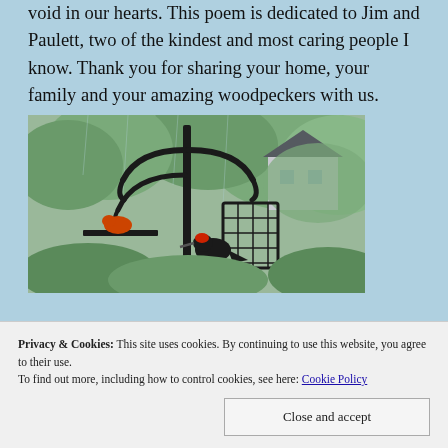void in our hearts. This poem is dedicated to Jim and Paulett, two of the kindest and most caring people I know. Thank you for sharing your home, your family and your amazing woodpeckers with us.
[Figure (photo): A bird feeder station with curved metal poles and a wire suet cage feeder, with a woodpecker visible. Background shows green trees and a house with a dark roof.]
Privacy & Cookies: This site uses cookies. By continuing to use this website, you agree to their use.
To find out more, including how to control cookies, see here: Cookie Policy